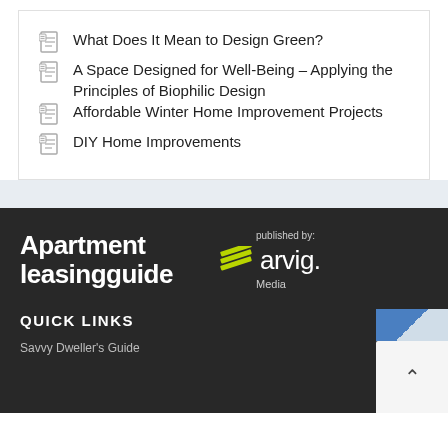What Does It Mean to Design Green?
A Space Designed for Well-Being – Applying the Principles of Biophilic Design
Affordable Winter Home Improvement Projects
DIY Home Improvements
[Figure (logo): Apartment Leasing Guide logo in white bold text on dark background, with 'published by: arvig Media' logo featuring yellow/green diagonal stripe marks]
QUICK LINKS
Savvy Dweller's Guide